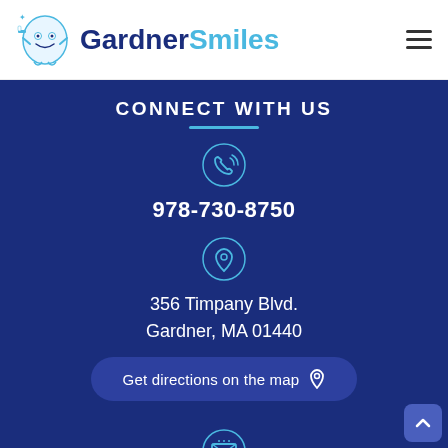[Figure (logo): Gardner Smiles dental clinic logo with cartoon tooth mascot character holding a toothbrush]
CONNECT WITH US
978-730-8750
356 Timpany Blvd.
Gardner, MA 01440
Get directions on the map
gardnersmiles@gmail.com